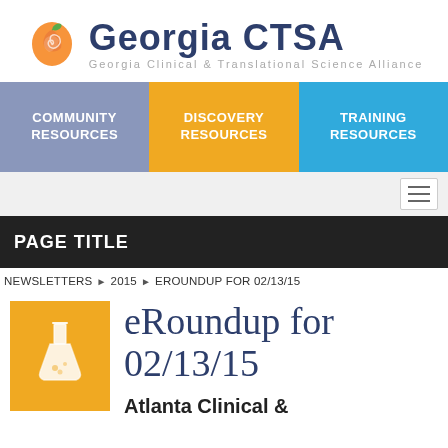[Figure (logo): Georgia CTSA logo with peach icon and text 'Georgia CTSA' and subtitle 'Georgia Clinical & Translational Science Alliance']
[Figure (infographic): Navigation bar with three colored sections: COMMUNITY RESOURCES (blue-gray), DISCOVERY RESOURCES (gold/yellow), TRAINING RESOURCES (light blue)]
[Figure (screenshot): Hamburger menu icon (three horizontal lines) on gray background]
PAGE TITLE
NEWSLETTERS ► 2015 ► EROUNDUP FOR 02/13/15
eRoundup for 02/13/15
Atlanta Clinical &